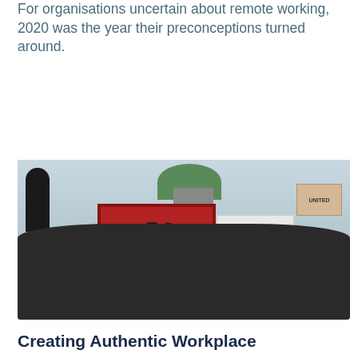For organisations uncertain about remote working, 2020 was the year their preconceptions turned around.
Read More
[Figure (photo): A crowd protest scene with people holding signs including a red sign with blue and black raised hands and a 'Black Lives Matter' sign, as well as a 'UNITED' sign in the background.]
Creating Authentic Workplace